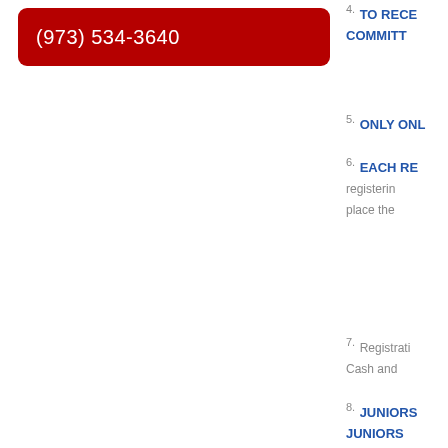(973) 534-3640
4. TO RECEIVE COMMITT...
5. ONLY ONL...
6. EACH RE... registering... place the...
7. Registration... Cash and...
8. JUNIORS... JUNIORS...
9. DAILY CH... HERE!!!!
Best Wishes...